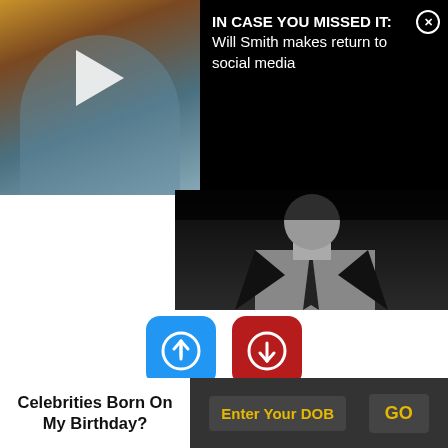[Figure (screenshot): Video thumbnail with play button overlay on left side, black/white formal portrait on right]
IN CASE YOU MISSED IT: Will Smith makes return to social media
[Figure (infographic): Blue upvote button with count 4 and red downvote button with count 0]
Listed In: Film & Theater Personalities
Birthdate: August 7, 1926
Sun Sign: Leo
Celebrities Born On My Birthday?  Enter Your DOB  GO